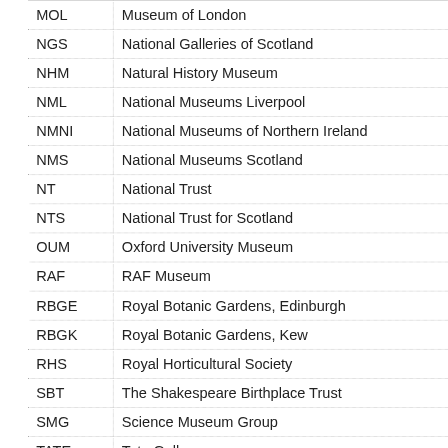| Abbreviation | Full Name |
| --- | --- |
| MOL | Museum of London |
| NGS | National Galleries of Scotland |
| NHM | Natural History Museum |
| NML | National Museums Liverpool |
| NMNI | National Museums of Northern Ireland |
| NMS | National Museums Scotland |
| NT | National Trust |
| NTS | National Trust for Scotland |
| OUM | Oxford University Museum |
| RAF | RAF Museum |
| RBGE | Royal Botanic Gardens, Edinburgh |
| RBGK | Royal Botanic Gardens, Kew |
| RHS | Royal Horticultural Society |
| SBT | The Shakespeare Birthplace Trust |
| SMG | Science Museum Group |
| TATE | Tate Gallery |
| THE | Treasure Houses of England |
| UoCM | University of Cambridge Museums |